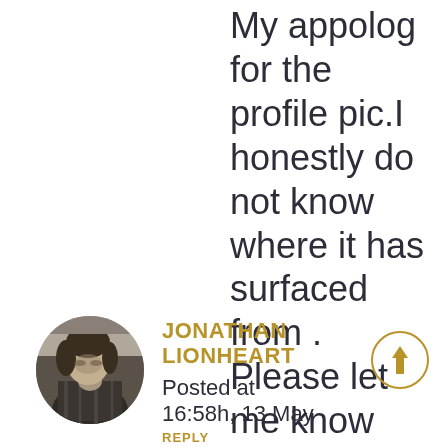My appolog for the profile pic.I honestly do not know where it has surfaced from . Please let me know how I can delete it and replace it with a decent photo.
[Figure (photo): Circular avatar photo of Jonathan Lionheart, black and white portrait of a young man looking down]
JONATHAN LIONHEART
Posted at 16:58h, 13 May
REPLY